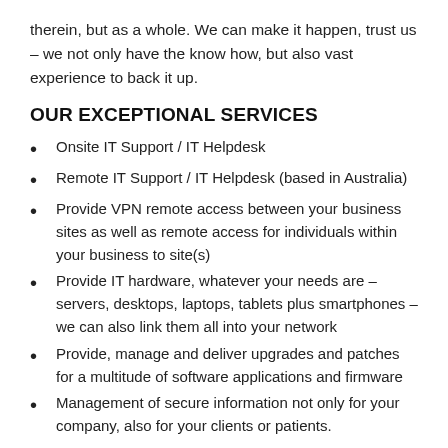therein, but as a whole. We can make it happen, trust us – we not only have the know how, but also vast experience to back it up.
OUR EXCEPTIONAL SERVICES
Onsite IT Support / IT Helpdesk
Remote IT Support / IT Helpdesk (based in Australia)
Provide VPN remote access between your business sites as well as remote access for individuals within your business to site(s)
Provide IT hardware, whatever your needs are – servers, desktops, laptops, tablets plus smartphones – we can also link them all into your network
Provide, manage and deliver upgrades and patches for a multitude of software applications and firmware
Management of secure information not only for your company, also for your clients or patients.